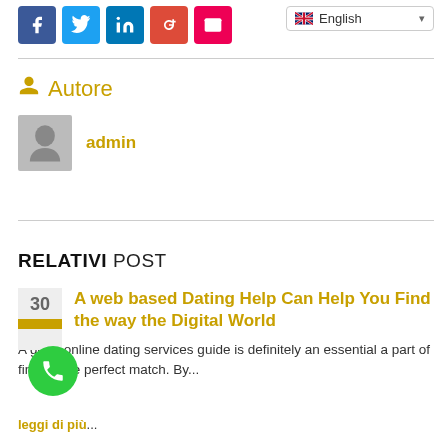[Figure (other): Social share buttons: Facebook (blue), Twitter (light blue), LinkedIn (blue), Google+ (red), Email (red-pink)]
[Figure (other): Language selector dropdown showing English with UK flag icon]
Autore
[Figure (photo): Gray avatar/placeholder user image]
admin
RELATIVI POST
30
A web based Dating Help Can Help You Find the way the Digital World
A good online dating services guide is definitely an essential a part of finding the perfect match. By...